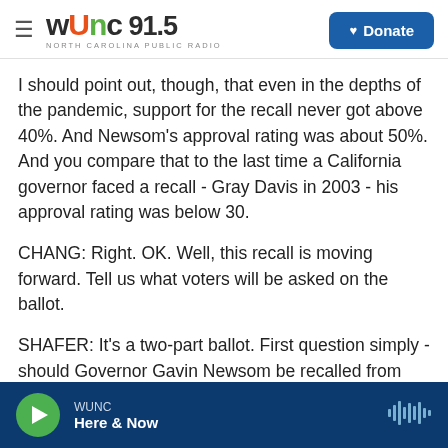WUNC 91.5 NORTH CAROLINA PUBLIC RADIO — Donate
I should point out, though, that even in the depths of the pandemic, support for the recall never got above 40%. And Newsom's approval rating was about 50%. And you compare that to the last time a California governor faced a recall - Gray Davis in 2003 - his approval rating was below 30.
CHANG: Right. OK. Well, this recall is moving forward. Tell us what voters will be asked on the ballot.
SHAFER: It's a two-part ballot. First question simply - should Governor Gavin Newsom be recalled from
WUNC — Here & Now